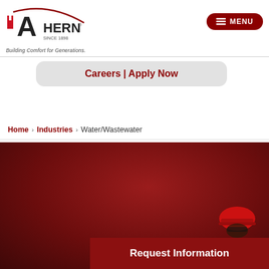[Figure (logo): Ahern company logo with red 'iA' icon and swoosh, text 'AHERN SINCE 1898', tagline 'Building Comfort for Generations.']
MENU
Careers | Apply Now
Home › Industries › Water/Wastewater
[Figure (photo): Dark red/maroon background with a worker wearing a red hard hat visible at bottom right corner]
Request Information